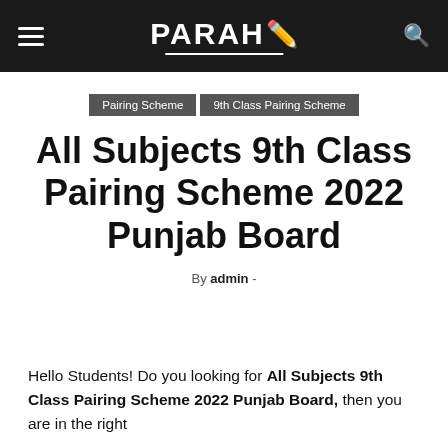PARAHI
Pairing Scheme | 9th Class Pairing Scheme
All Subjects 9th Class Pairing Scheme 2022 Punjab Board
By admin -
Hello Students! Do you looking for All Subjects 9th Class Pairing Scheme 2022 Punjab Board, then you are in the right